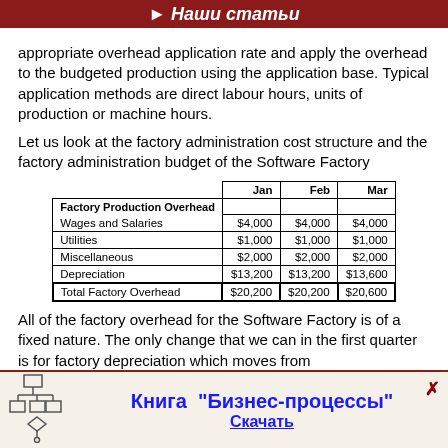Наши статьи
appropriate overhead application rate and apply the overhead to the budgeted production using the application base. Typical application methods are direct labour hours, units of production or machine hours.
Let us look at the factory administration cost structure and the factory administration budget of the Software Factory
|  | Jan | Feb | Mar |
| --- | --- | --- | --- |
| Factory Production Overhead |  |  |  |
| Wages and Salaries | $4,000 | $4,000 | $4,000 |
| Utilities | $1,000 | $1,000 | $1,000 |
| Miscellaneous | $2,000 | $2,000 | $2,000 |
| Depreciation | $13,200 | $13,200 | $13,600 |
| Total Factory Overhead | $20,200 | $20,200 | $20,600 |
All of the factory overhead for the Software Factory is of a fixed nature. The only change that we can in the first quarter is for factory depreciation which moves from
[Figure (illustration): Flowchart/process icon with boxes and arrows]
Книга "Бизнес-процессы" Скачать